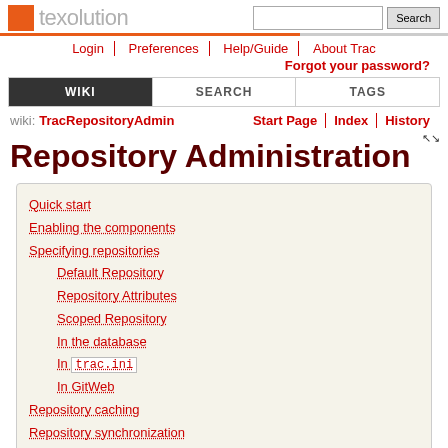texolution | Search
Login | Preferences | Help/Guide | About Trac | Forgot your password?
WIKI | SEARCH | TAGS
wiki: TracRepositoryAdmin | Start Page | Index | History
Repository Administration
Quick start
Enabling the components
Specifying repositories
Default Repository
Repository Attributes
Scoped Repository
In the database
In trac.ini
In GitWeb
Repository caching
Repository synchronization
Explicit synchronization
Per-request synchronization